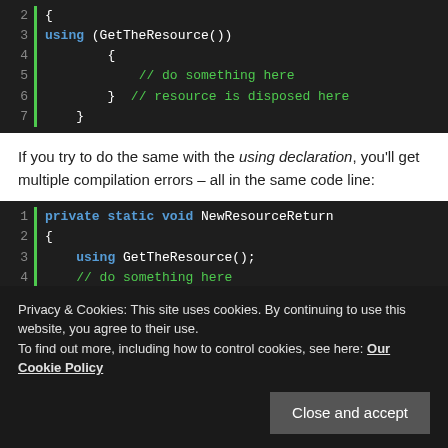[Figure (screenshot): Code block (lines 2-7) showing a using statement with GetTheResource() and comments in dark IDE theme. Line 2: {, Line 3: using (GetTheResource()), Line 4: {, Line 5: // do something here, Line 6: } // resource is disposed here, Line 7: }]
If you try to do the same with the using declaration, you'll get multiple compilation errors – all in the same code line:
[Figure (screenshot): Code block (lines 1-5) showing private static void NewResourceReturn method with using GetTheResource(); and comments in dark IDE theme.]
Privacy & Cookies: This site uses cookies. By continuing to use this website, you agree to their use.
To find out more, including how to control cookies, see here: Our Cookie Policy
[Close and accept button]